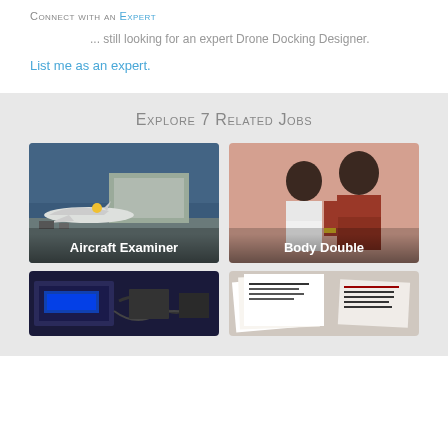Connect with an Expert
... still looking for an expert Drone Docking Designer.
List me as an expert.
Explore 7 Related Jobs
[Figure (photo): Aircraft on airport tarmac with label Aircraft Examiner]
[Figure (photo): Two people posing with label Body Double]
[Figure (photo): Electronic equipment, partially visible]
[Figure (photo): Documents/papers, partially visible]